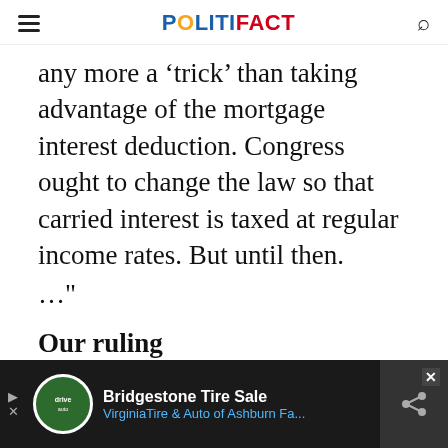POLITIFACT
any more a ‘trick’ than taking advantage of the mortgage interest deduction. Congress ought to change the law so that carried interest is taxed at regular income rates. But until then. ..."
Our ruling
The Obama campaign said Romney's use of carried interest is a "trick," but we find that's an ex... trick... nefariously that